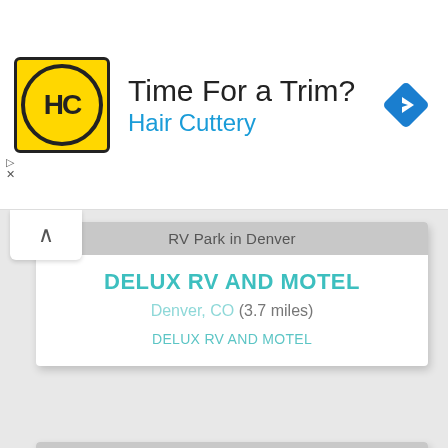[Figure (screenshot): Advertisement banner for Hair Cuttery with yellow logo and navigation arrow icon]
Time For a Trim?
Hair Cuttery
RV Park in Denver
DELUX RV AND MOTEL
Denver, CO (3.7 miles)
DELUX RV AND MOTEL
RV Park in Twin Lakes
PARRY PEAK CAMPGROUND
Twin Lakes, CO (5.7 miles)
PARRY PEAK CAMPGROUND